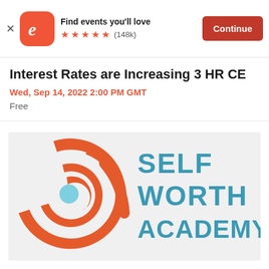Find events you'll love ★★★★★ (148k) Continue
Interest Rates are Increasing 3 HR CE
Wed, Sep 14, 2022 2:00 PM GMT
Free
[Figure (logo): Self Worth Academy logo: orange spiral/swirl design with light blue circle center, with teal text reading SELF WORTH ACADEMY]